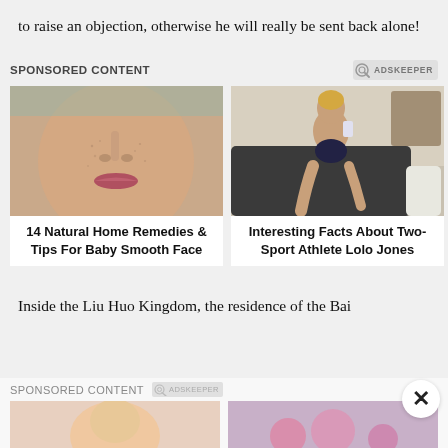to raise an objection, otherwise he will really be sent back alone!
SPONSORED CONTENT
[Figure (photo): Close-up of a person's lower face showing skin texture]
14 Natural Home Remedies & Tips For Baby Smooth Face
[Figure (photo): Woman sitting on a couch looking at her phone]
Interesting Facts About Two-Sport Athlete Lolo Jones
Inside the Liu Huo Kingdom, the residence of the Bai
SPONSORED CONTENT